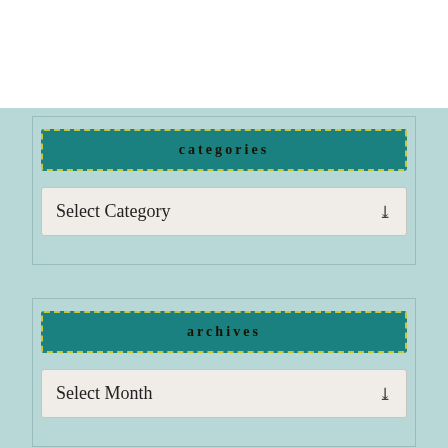categories
Select Category
archives
Select Month
meta
Log in
Entries feed
Comments feed